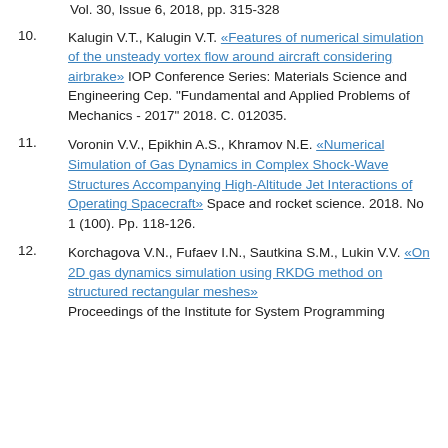Vol. 30, Issue 6, 2018, pp. 315-328
10. Kalugin V.T., Kalugin V.T. «Features of numerical simulation of the unsteady vortex flow around aircraft considering airbrake» IOP Conference Series: Materials Science and Engineering Сер. "Fundamental and Applied Problems of Mechanics - 2017" 2018. С. 012035.
11. Voronin V.V., Epikhin A.S., Khramov N.E. «Numerical Simulation of Gas Dynamics in Complex Shock-Wave Structures Accompanying High-Altitude Jet Interactions of Operating Spacecraft» Space and rocket science. 2018. No 1 (100). Pp. 118-126.
12. Korchagova V.N., Fufaev I.N., Sautkina S.M., Lukin V.V. «On 2D gas dynamics simulation using RKDG method on structured rectangular meshes» Proceedings of the Institute for System Programming